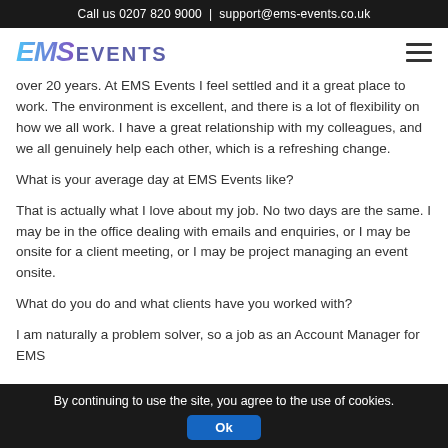Call us 0207 820 9000  |  support@ems-events.co.uk
[Figure (logo): EMS Events logo with stylized italic EMS in blue-to-purple gradient and EVENTS in purple uppercase]
over 20 years. At EMS Events I feel settled and it a great place to work. The environment is excellent, and there is a lot of flexibility on how we all work. I have a great relationship with my colleagues, and we all genuinely help each other, which is a refreshing change.
What is your average day at EMS Events like?
That is actually what I love about my job. No two days are the same. I may be in the office dealing with emails and enquiries, or I may be onsite for a client meeting, or I may be project managing an event onsite.
What do you do and what clients have you worked with?
I am naturally a problem solver, so a job as an Account Manager for EMS
By continuing to use the site, you agree to the use of cookies.